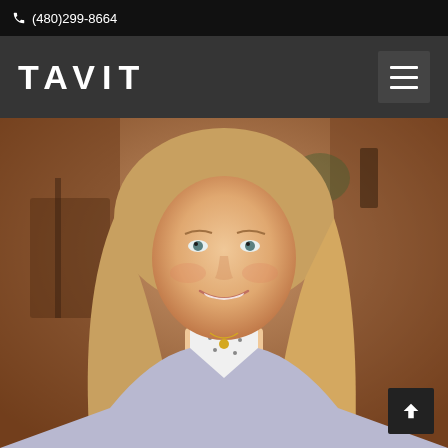(480)299-8664
TAVIT
[Figure (photo): Professional headshot of a woman with long blonde hair, smiling, wearing a light lavender blazer and polka-dot top with a gold necklace, photographed outdoors at what appears to be a restaurant patio.]